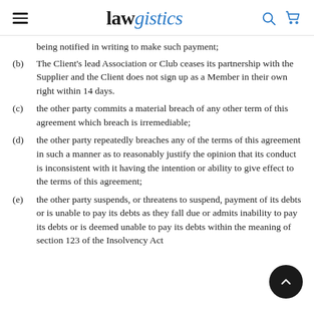lawgistics
being notified in writing to make such payment;
(b) The Client's lead Association or Club ceases its partnership with the Supplier and the Client does not sign up as a Member in their own right within 14 days.
(c) the other party commits a material breach of any other term of this agreement which breach is irremediable;
(d) the other party repeatedly breaches any of the terms of this agreement in such a manner as to reasonably justify the opinion that its conduct is inconsistent with it having the intention or ability to give effect to the terms of this agreement;
(e) the other party suspends, or threatens to suspend, payment of its debts or is unable to pay its debts as they fall due or admits inability to pay its debts or is deemed unable to pay its debts within the meaning of section 123 of the Insolvency Act